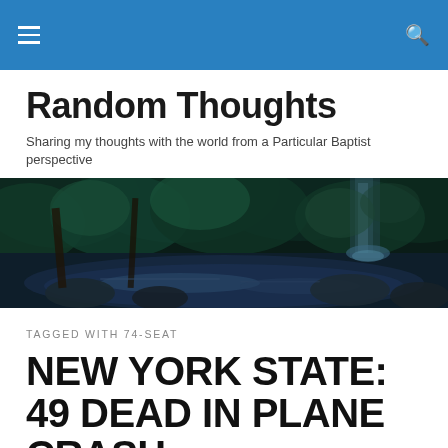Random Thoughts — navigation header with hamburger menu and search icon
Random Thoughts
Sharing my thoughts with the world from a Particular Baptist perspective
[Figure (photo): Dark forest scene with a waterfall and rocky stream, lush green foliage, dramatic moody lighting]
TAGGED WITH 74-SEAT
NEW YORK STATE: 49 DEAD IN PLANE CRASH